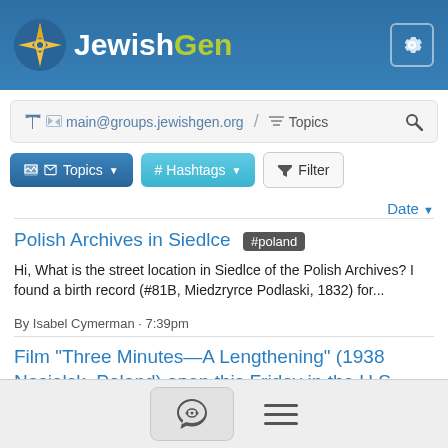[Figure (logo): JewishGen logo with compass/star icon and gear settings icon in blue header]
main@groups.jewishgen.org / Topics
Topics | # Hashtags | Filter
Date
Polish Archives in Siedlce #poland
Hi, What is the street location in Siedlce of the Polish Archives? I found a birth record (#81B, Miedzryrce Podlaski, 1832) for...
By Isabel Cymerman · 7:39pm
Film "Three Minutes—A Lengthening" (1938 Nasielsk, Poland) open this Friday in the U.S.
#events #holocaust #poland
The award-winning documentary 'Three Minutes—A Lengthening'